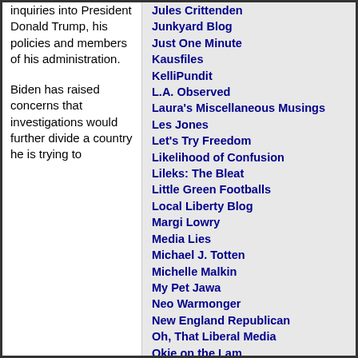inquiries into President Donald Trump, his policies and members of his administration.
Biden has raised concerns that investigations would further divide a country he is trying to
Jules Crittenden
Junkyard Blog
Just One Minute
Kausfiles
KelliPundit
L.A. Observed
Laura's Miscellaneous Musings
Les Jones
Let's Try Freedom
Likelihood of Confusion
Lileks: The Bleat
Little Green Footballs
Local Liberty Blog
Margi Lowry
Media Lies
Michael J. Totten
Michelle Malkin
My Pet Jawa
Neo Warmonger
New England Republican
Oh, That Liberal Media
Okie on the Lam
Old Patriot's Pen
Oraculations
Outside the Beltway
Pajama Pundits
Patrick Ruffini
Pejmanesque
Piece of Work in Progress
Pigilito
Polipundit
Politburo Diktat
Ponehat